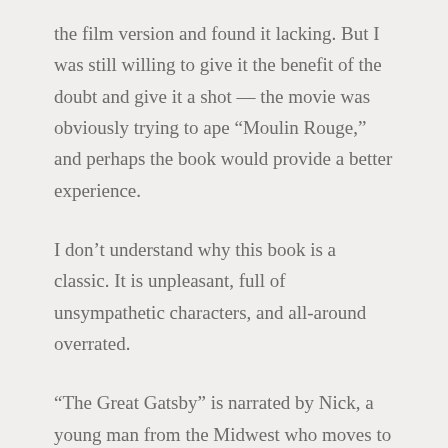the film version and found it lacking. But I was still willing to give it the benefit of the doubt and give it a shot — the movie was obviously trying to ape “Moulin Rouge,” and perhaps the book would provide a better experience.
I don’t understand why this book is a classic. It is unpleasant, full of unsympathetic characters, and all-around overrated.
“The Great Gatsby” is narrated by Nick, a young man from the Midwest who moves to New York City during the Roaring Twenties and finds himself drawn to his mysterious, charismatic neighbor, Jay Gatsby. Gatsby is fabulously wealthy, and constantly throws wild, lavish parties at his home. Nick becomes obsessed with Gatsby, trying to unravel his past (and finding countless contradictory stories about said past from various acquaintances), and soon becomes